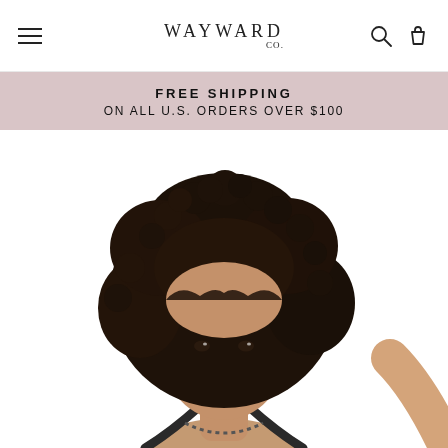WAYWARD CO.
FREE SHIPPING
ON ALL U.S. ORDERS OVER $100
[Figure (photo): A smiling young woman with large natural curly hair wearing a dark halter bikini top, photographed from the shoulders up against a white background. A second person's arm is partially visible at the right edge.]